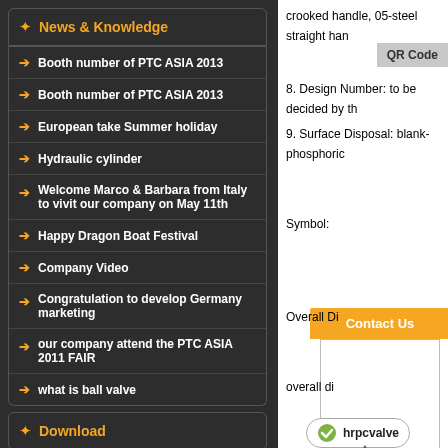News & Knowledge
Booth number of PTC ASIA 2013
Booth number of PTC ASIA 2013
European take Summer holiday
Hydraulic cylinder
Welcome Marco & Barbara from Italy to vivit our company on May 11th
Happy Dragon Boat Festival
Company Video
Congratulation to develop Germany marketing
our company attend the PTC ASIA 2011 FAIR
what is ball valve
Download
crooked handle, 05-steel straight han
QR Code
8. Design Number: to be decided by th
9. Surface Disposal: blank-phosphoric
Symbol:
Contact Us
Overall Di
overall di
hrpcvalve